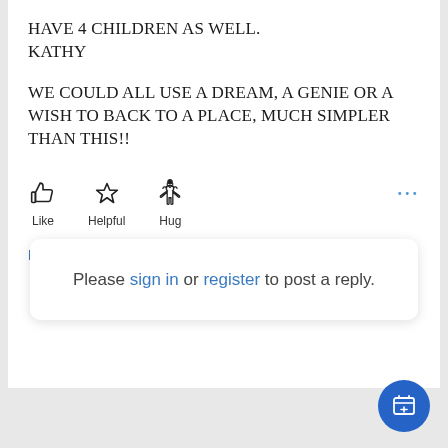HAVE 4 CHILDREN AS WELL. KATHY
WE COULD ALL USE A DREAM, A GENIE OR A WISH TO BACK TO A PLACE, MUCH SIMPLER THAN THIS!!
[Figure (infographic): Three reaction buttons: Like (thumbs up icon), Helpful (star icon), Hug (heart hands icon), followed by a blue ellipsis (more options) button]
REPLY
Please sign in or register to post a reply.